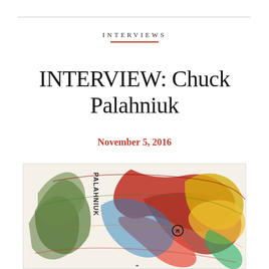INTERVIEWS
INTERVIEW: Chuck Palahniuk
November 5, 2016
[Figure (illustration): Book cover illustration for Palahniuk — colorful anatomical/organic flowing ribbons and tendrils in red, green, blue, yellow on a cream background, with the text 'PALAHNIUK' written vertically in stylized lettering and a circled R trademark symbol.]